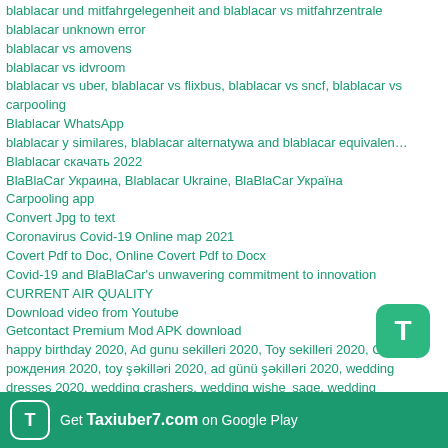blablacar und mitfahrgelegenheit and blablacar vs mitfahrzentrale
blablacar unknown error
blablacar vs amovens
blablacar vs idvroom
blablacar vs uber, blablacar vs flixbus, blablacar vs sncf, blablacar vs carpooling
Blablacar WhatsApp
blablacar y similares, blablacar alternatywa and blablacar equivalente
Blablacar скачать 2022
BlaBlaCar Украина, Blablacar Ukraine, BlaBlaCar Україна
Carpooling app
Convert Jpg to text
Coronavirus Covid-19 Online map 2021
Covert Pdf to Doc, Online Covert Pdf to Docx
Covid-19 and BlaBlaCar's unwavering commitment to innovation
CURRENT AIR QUALITY
Download video from Youtube
Getcontact Premium Mod APK download
happy birthday 2020, Ad gunu sekilleri 2020, Toy sekilleri 2020, С днем рождения 2020, toy şəkilləri 2020, ad günü şəkilləri 2020, wedding dresses 2020, wedding crashers, wedding wishes message, wedding anniversary wishes, wedding rings sets 2020, wedding congratulations message, elegant wedding guest dresses, wedding shoes for women, wedding invitation card 2020, wedding planner
Get Taxiuber7.com on Google Play
Online Excel Editor